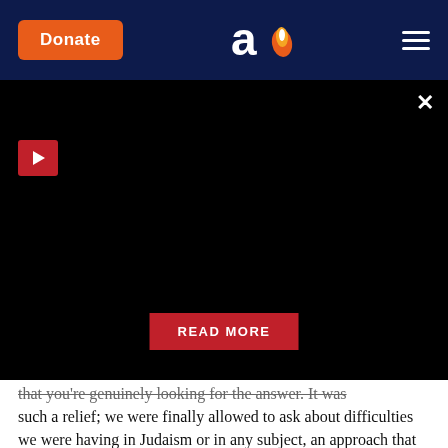Donate | [Aish logo] | [menu]
[Figure (screenshot): Black video player panel with red play button at top left, close X button at top right, and a red READ MORE button centered near the bottom of the panel]
that you're genuinely looking for the answer. It was such a relief; we were finally allowed to ask about difficulties we were having in Judaism or in any subject, an approach that turned out to be liberating for us students.
Israel Issac Rabi was an American physicist who won the Nobel Prize in Physics in 1944 for his discovery of nuclear magnetic resonance, and I think he put it best